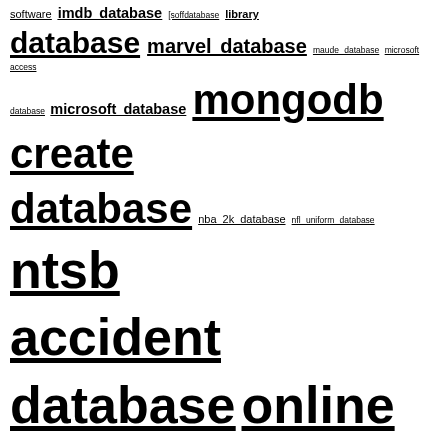software imdb database [soffdatabase library database marvel database maude database microsoft access database microsoft database mongodb create database nba 2k database nfl uniform database ntsb accident database online database optc database plant database pocket watch database postgres create database postgres delete database ppp loan database proquest database protein database redis database ri corporate database shemale database snowflake database the movie database types of database uic database usda nutrient database ut library database what is database whois database